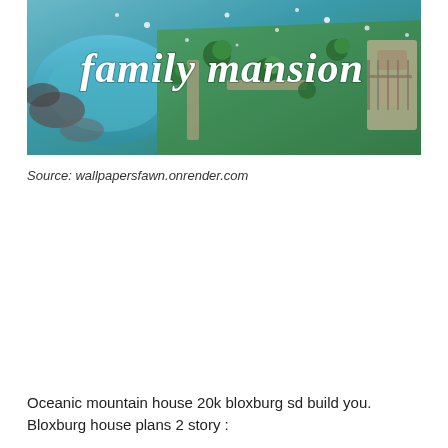[Figure (screenshot): A game screenshot (likely Bloxburg/Roblox) showing an aerial/isometric view of a family mansion build with a pool, trees, and paths. White handwritten-style text reads 'family mansion' overlaid on the image.]
Source: wallpapersfawn.onrender.com
Oceanic mountain house 20k bloxburg sd build you. Bloxburg house plans 2 story :